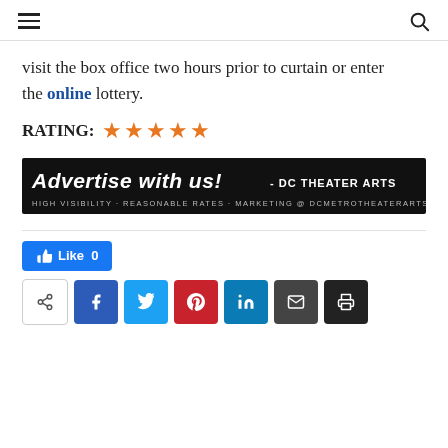[hamburger menu] [search icon]
visit the box office two hours prior to curtain or enter the online lottery.
RATING: ★★★★★
[Figure (other): Advertisement banner: 'Advertise with us! - DC THEATER ARTS' on black background with tagline 'HIGH VISIBILITY - REASONABLE RATES - MARKETING @ DCMETROTHEATERARTS.COM']
Like 0
Share buttons: share, Facebook, Twitter, Pinterest, LinkedIn, Email, Print